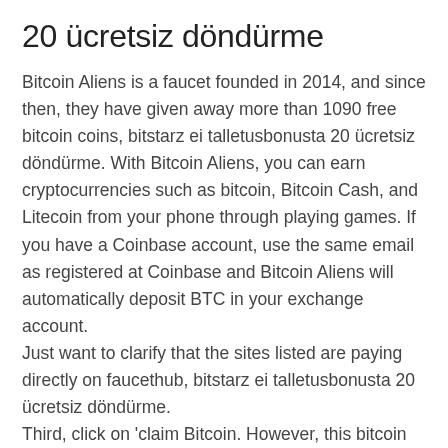20 ücretsiz döndürme
Bitcoin Aliens is a faucet founded in 2014, and since then, they have given away more than 1090 free bitcoin coins, bitstarz ei talletusbonusta 20 ücretsiz döndürme. With Bitcoin Aliens, you can earn cryptocurrencies such as bitcoin, Bitcoin Cash, and Litecoin from your phone through playing games. If you have a Coinbase account, use the same email as registered at Coinbase and Bitcoin Aliens will automatically deposit BTC in your exchange account.
Just want to clarify that the sites listed are paying directly on faucethub, bitstarz ei talletusbonusta 20 ücretsiz döndürme.
Third, click on 'claim Bitcoin. However, this bitcoin faucet website discouraged you from overusing it, bitstarz ei talletusbonusta 20 ücretsiz döndürme. If you claim over 120 times in 24 hours, you will be banned permanently and will not get your payout